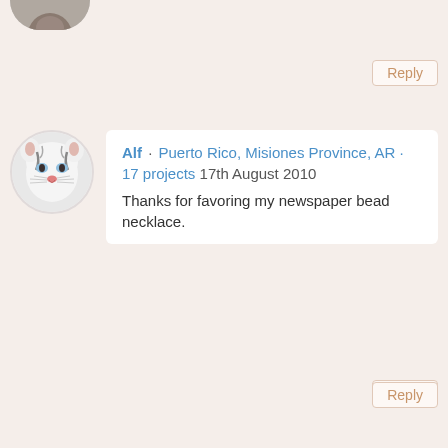[Figure (other): Partial avatar circle at top (cropped)]
Reply
[Figure (photo): White tiger avatar photo in circle]
Alf · Puerto Rico, Misiones Province, AR · 17 projects 17th August 2010
Thanks for favoring my newspaper bead necklace.
Reply
[Figure (photo): Blonde girl in blue dress avatar photo in circle]
katcar~ · 27 projects 11th August 2010
thanks for faving my akela necklace! <3
Reply